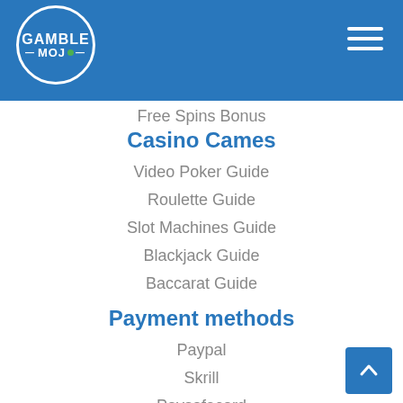GAMBLE MOJO
Free Spins Bonus
Casino Cames
Video Poker Guide
Roulette Guide
Slot Machines Guide
Blackjack Guide
Baccarat Guide
Payment methods
Paypal
Skrill
Paysafecard
Neteller
Bitcoin
Casino Softwares